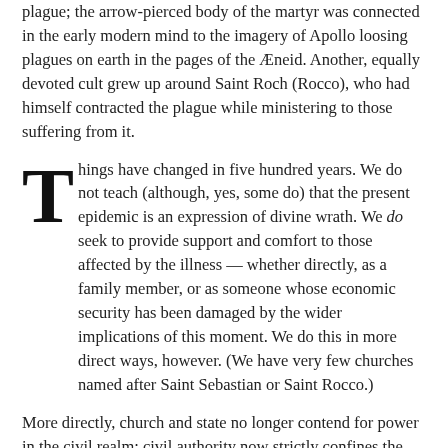plague; the arrow-pierced body of the martyr was connected in the early modern mind to the imagery of Apollo loosing plagues on earth in the pages of the Æneid. Another, equally devoted cult grew up around Saint Roch (Rocco), who had himself contracted the plague while ministering to those suffering from it.
Things have changed in five hundred years. We do not teach (although, yes, some do) that the present epidemic is an expression of divine wrath. We do seek to provide support and comfort to those affected by the illness — whether directly, as a family member, or as someone whose economic security has been damaged by the wider implications of this moment. We do this in more direct ways, however. (We have very few churches named after Saint Sebastian or Saint Rocco.)
More directly, church and state no longer contend for power in the civil realm; civil authority now strictly confines the role and work of the church to a narrow focus. If the coronavirus has made anything clear — and there is little it has — the relationship of faith communities to secular state authority has come forward in high relief.
I write this just after having had to send a message to our